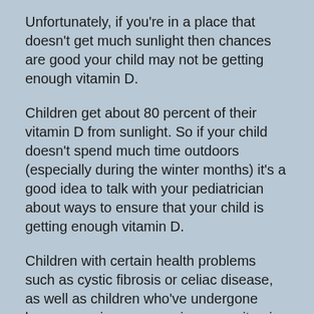Unfortunately, if you're in a place that doesn't get much sunlight then chances are good your child may not be getting enough vitamin D.
Children get about 80 percent of their vitamin D from sunlight. So if your child doesn't spend much time outdoors (especially during the winter months) it's a good idea to talk with your pediatrician about ways to ensure that your child is getting enough vitamin D.
Children with certain health problems such as cystic fibrosis or celiac disease, as well as children who've undergone bone surgeries may require more vitamin D. This is something you should discuss with your pediatrician. Children over 1-year-old need at least 600 IU of vitamin D (or more) a day. Ideally, children should get around 1,000 IU of vitamin D per day.
We also know that too much time in the sun can also pose risks for children, especially their skin. During the summer